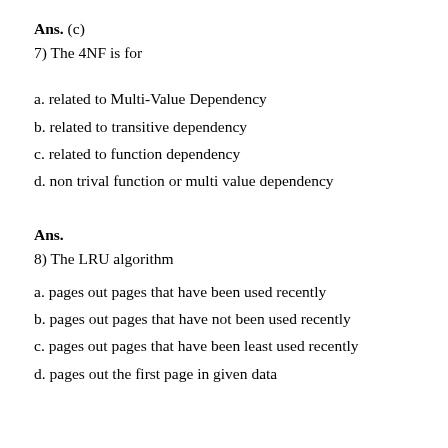Ans. (c)
7) The 4NF is for
a. related to Multi-Value Dependency
b. related to transitive dependency
c. related to function dependency
d. non trival function or multi value dependency
Ans.
8) The LRU algorithm
a. pages out pages that have been used recently
b. pages out pages that have not been used recently
c. pages out pages that have been least used recently
d. pages out the first page in given data